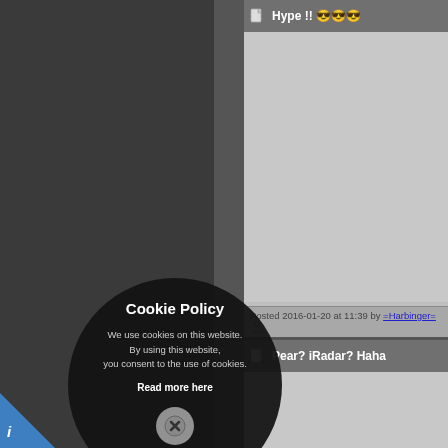Hype !! 😎😎😎
Posted 2016-01-20 at 11:39 by =Harbinger=
Pear? iRadar? Haha
Posted 2016-01-20 at 11:53 by sweedensniiperm
I am so looking forward to this! I hope it
Quote: As such we are going to be drip fee to the v1.4 release, with Type 21 Ar
This is just orgasm
Posted 2016-01-20 at 11:58 by mries
Cookie Policy
We use cookies on this website. By using this website, you consent to the use of cookies.
Read more here